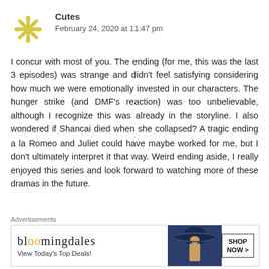[Figure (illustration): Yellow snowflake/star decorative avatar icon for user Cutes]
Cutes
February 24, 2020 at 11:47 pm
I concur with most of you. The ending (for me, this was the last 3 episodes) was strange and didn't feel satisfying considering how much we were emotionally invested in our characters. The hunger strike (and DMF's reaction) was too unbelievable, although I recognize this was already in the storyline. I also wondered if Shancai died when she collapsed? A tragic ending a la Romeo and Juliet could have maybe worked for me, but I don't ultimately interpret it that way. Weird ending aside, I really enjoyed this series and look forward to watching more of these dramas in the future.
Advertisements
[Figure (other): Bloomingdale's advertisement banner with logo, 'View Today's Top Deals!' text, woman with wide-brim hat image, and SHOP NOW button]